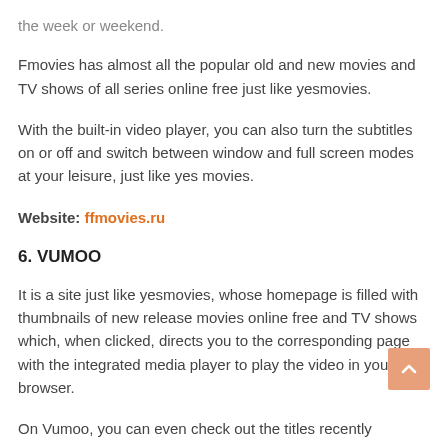the week or weekend.
Fmovies has almost all the popular old and new movies and TV shows of all series online free just like yesmovies.
With the built-in video player, you can also turn the subtitles on or off and switch between window and full screen modes at your leisure, just like yes movies.
Website: ffmovies.ru
6. VUMOO
It is a site just like yesmovies, whose homepage is filled with thumbnails of new release movies online free and TV shows which, when clicked, directs you to the corresponding page with the integrated media player to play the video in your web browser.
On Vumoo, you can even check out the titles recently